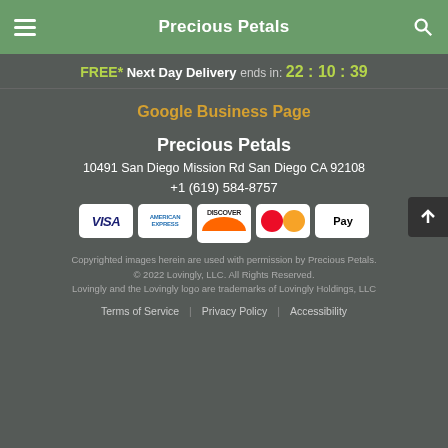Precious Petals
FREE* Next Day Delivery ends in: 22 : 10 : 39
Google Business Page
Precious Petals
10491 San Diego Mission Rd San Diego CA 92108
+1 (619) 584-8757
[Figure (other): Payment method icons: Visa, American Express, Discover, Mastercard, Apple Pay]
Copyrighted images herein are used with permission by Precious Petals.
© 2022 Lovingly, LLC. All Rights Reserved.
Lovingly and the Lovingly logo are trademarks of Lovingly Holdings, LLC
Terms of Service | Privacy Policy | Accessibility